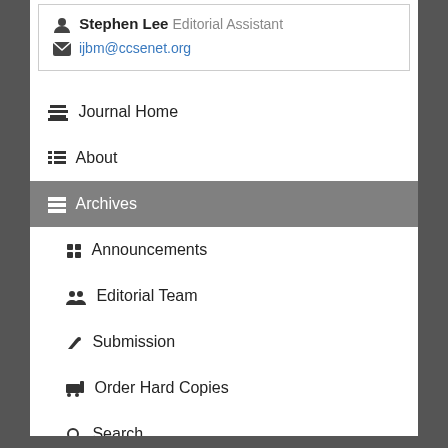Stephen Lee  Editorial Assistant
ijbm@ccsenet.org
Journal Home
About
Archives
Announcements
Editorial Team
Submission
Order Hard Copies
Search